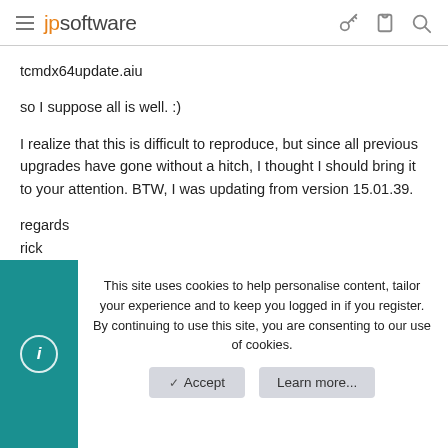jpsoftware
tcmdx64update.aiu
so I suppose all is well. :)
I realize that this is difficult to reproduce, but since all previous upgrades have gone without a hitch, I thought I should bring it to your attention. BTW, I was updating from version 15.01.39.
regards
rick
This site uses cookies to help personalise content, tailor your experience and to keep you logged in if you register.
By continuing to use this site, you are consenting to our use of cookies.